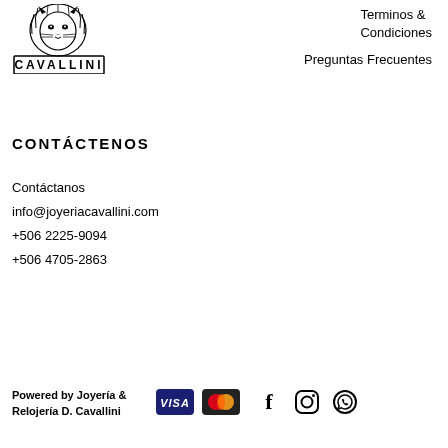[Figure (logo): Cavallini jewelry logo — lion head illustration above stylized text CAVALLINI]
Terminos & Condiciones
Preguntas Frecuentes
CONTÁCTENOS
Contáctanos
info@joyeriacavallini.com
+506 2225-9094
+506 4705-2863
Powered by Joyería & Relojería D. Cavallini
[Figure (logo): VISA credit card payment badge]
[Figure (logo): Mastercard payment badge]
[Figure (logo): Facebook social media icon]
[Figure (logo): Instagram social media icon]
[Figure (logo): WhatsApp social media icon]